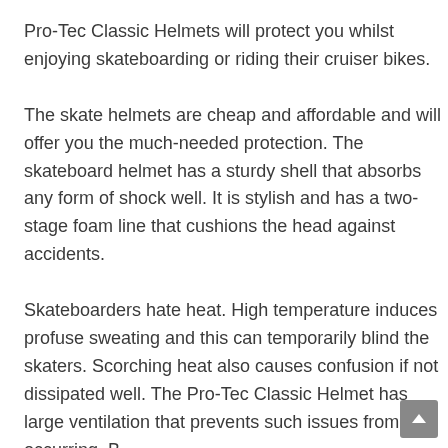Pro-Tec Classic Helmets will protect you whilst enjoying skateboarding or riding their cruiser bikes.
The skate helmets are cheap and affordable and will offer you the much-needed protection. The skateboard helmet has a sturdy shell that absorbs any form of shock well. It is stylish and has a two-stage foam line that cushions the head against accidents.
Skateboarders hate heat. High temperature induces profuse sweating and this can temporarily blind the skaters. Scorching heat also causes confusion if not dissipated well. The Pro-Tec Classic Helmet has large ventilation that prevents such issues from occurring. By using this helmet, you can ensure that...